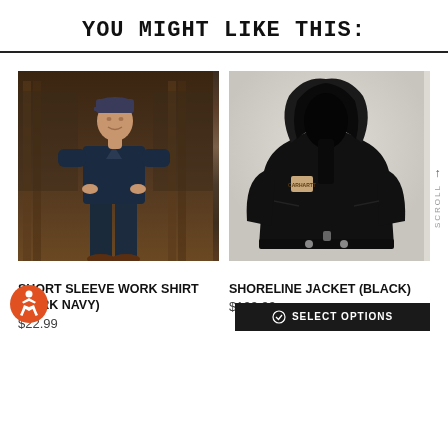YOU MIGHT LIKE THIS:
[Figure (photo): Man wearing short sleeve dark navy work shirt standing in a store with clothing racks in the background]
SHORT SLEEVE WORK SHIRT (DARK NAVY)
$22.99
[Figure (photo): Black Carhartt Shoreline hooded jacket displayed on white background]
SHORELINE JACKET (BLACK)
$129.99